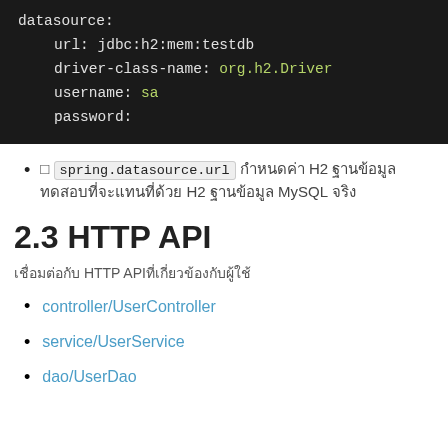[Figure (screenshot): Code block showing YAML datasource configuration with url, driver-class-name, username, and password fields on dark background]
□ spring.datasource.url กำหนดค่า H2 ฐานข้อมูล ทดสอบที่จะแทนที่ด้วย H2 ฐานข้อมูล MySQL จริง
2.3 HTTP API
เชื่อมต่อกับ HTTP APIที่เกี่ยวข้องกับผู้ใช้
controller/UserController
service/UserService
dao/UserDao